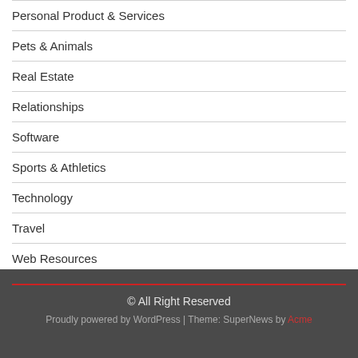Personal Product & Services
Pets & Animals
Real Estate
Relationships
Software
Sports & Athletics
Technology
Travel
Web Resources
© All Right Reserved
Proudly powered by WordPress | Theme: SuperNews by Acme